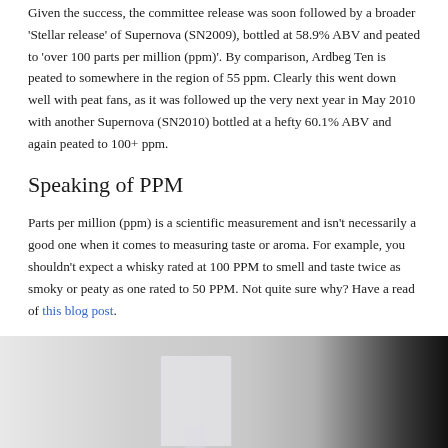Given the success, the committee release was soon followed by a broader 'Stellar release' of Supernova (SN2009), bottled at 58.9% ABV and peated to 'over 100 parts per million (ppm)'. By comparison, Ardbeg Ten is peated to somewhere in the region of 55 ppm. Clearly this went down well with peat fans, as it was followed up the very next year in May 2010 with another Supernova (SN2010) bottled at a hefty 60.1% ABV and again peated to 100+ ppm.
Speaking of PPM
Parts per million (ppm) is a scientific measurement and isn't necessarily a good one when it comes to measuring taste or aroma. For example, you shouldn't expect a whisky rated at 100 PPM to smell and taste twice as smoky or peaty as one rated to 50 PPM. Not quite sure why? Have a read of this blog post.
[Figure (photo): A photograph showing a glass of whisky on a light-colored surface with a dark background on the right side.]